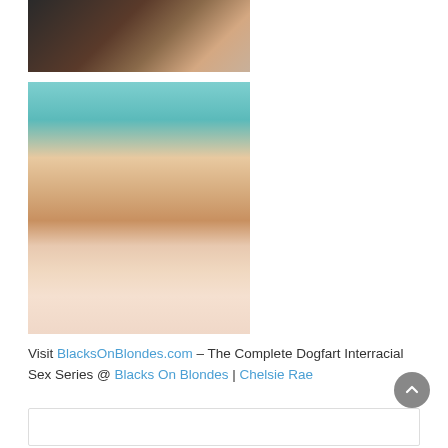[Figure (photo): Top cropped photo showing close-up skin tones, dark and light, partially visible bodies]
[Figure (photo): Photo of a blonde woman with mouth open, blue/teal background, close-up facial shot]
Visit BlacksOnBlondes.com – The Complete Dogfart Interracial Sex Series @ Blacks On Blondes | Chelsie Rae